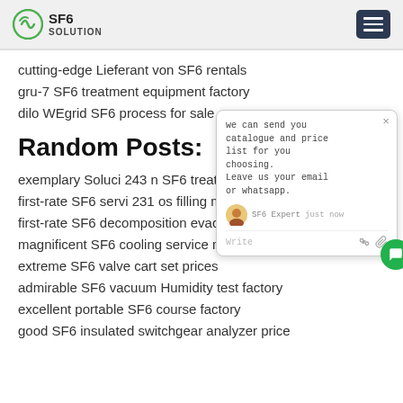SF6 SOLUTION
cutting-edge Lieferant von SF6 rentals
gru-7 SF6 treatment equipment factory
dilo WEgrid SF6 process for sale
Random Posts:
exemplary Soluci 243 n SF6 treatment p…
first-rate SF6 servi 231 os filling ma…
first-rate SF6 decomposition evacuation…
magnificent SF6 cooling service manufacturers
extreme SF6 valve cart set prices
admirable SF6 vacuum Humidity test factory
excellent portable SF6 course factory
good SF6 insulated switchgear analyzer price
[Figure (screenshot): Live chat widget with message: we can send you catalogue and price list for you choosing. Leave us your email or whatsapp. SF6 Expert just now.]